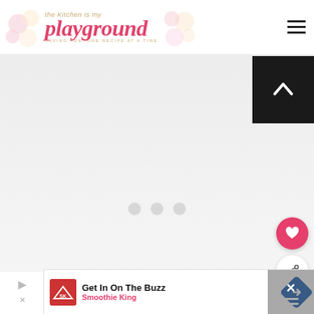the Kitchen is my playground - HAVING FUN, ONE RECIPE AT A TIME
[Figure (photo): Main article food photo placeholder (white/light gray area)]
Save
Shredded chicken pops up as an ing in so many recipes - from the ever-popular
[Figure (infographic): WHAT'S NEXT → How to Make Homemade... panel with circular thumbnail]
[Figure (infographic): Advertisement bar: Get In On The Buzz - Smoothie King]